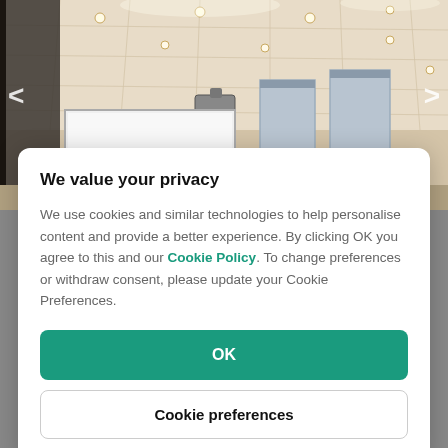[Figure (photo): Interior photo of a conference/meeting room with projection screen, recessed ceiling lights, and roller blinds on windows.]
We value your privacy
We use cookies and similar technologies to help personalise content and provide a better experience. By clicking OK you agree to this and our Cookie Policy. To change preferences or withdraw consent, please update your Cookie Preferences.
OK
Cookie preferences